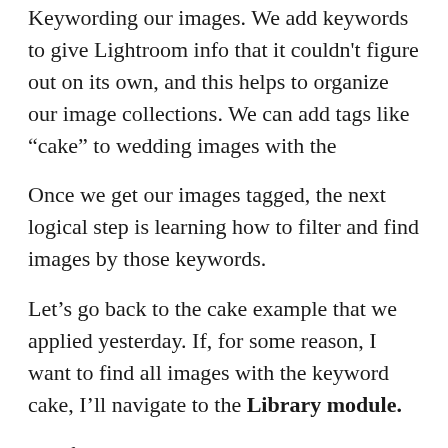Keywording our images. We add keywords to give Lightroom info that it couldn't figure out on its own, and this helps to organize our image collections. We can add tags like “cake” to wedding images with the
Once we get our images tagged, the next logical step is learning how to filter and find images by those keywords.
Let’s go back to the cake example that we applied yesterday. If, for some reason, I want to find all images with the keyword cake, I’ll navigate to the Library module.
The first thing that I want to do is turn on the Filter Bar. To do this, let’s go ahead and